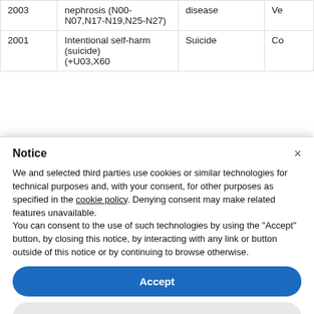| Year | ICD Codes | Cause | Type |
| --- | --- | --- | --- |
| 2003 | nephrosis (N00-N07,N17-N19,N25-N27) | disease | Ve |
| 2001 | Intentional self-harm (suicide) (+U03,X60… | Suicide | Co |
Notice
We and selected third parties use cookies or similar technologies for technical purposes and, with your consent, for other purposes as specified in the cookie policy. Denying consent may make related features unavailable.
You can consent to the use of such technologies by using the "Accept" button, by closing this notice, by interacting with any link or button outside of this notice or by continuing to browse otherwise.